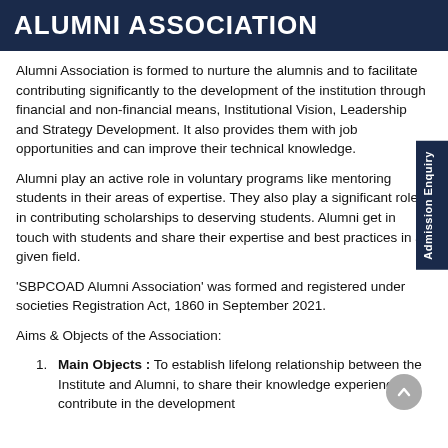ALUMNI ASSOCIATION
Alumni Association is formed to nurture the alumnis and to facilitate contributing significantly to the development of the institution through financial and non-financial means, Institutional Vision, Leadership and Strategy Development. It also provides them with job opportunities and can improve their technical knowledge.
Alumni play an active role in voluntary programs like mentoring students in their areas of expertise. They also play a significant role in contributing scholarships to deserving students. Alumni get in touch with students and share their expertise and best practices in a given field.
'SBPCOAD Alumni Association' was formed and registered under societies Registration Act, 1860 in September 2021.
Aims & Objects of the Association:
Main Objects : To establish lifelong relationship between the Institute and Alumni, to share their knowledge experiences, contribute in the development